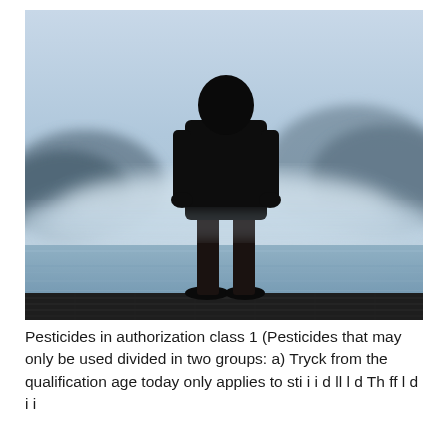[Figure (photo): Silhouette of a person standing on a wooden dock or pier, viewed from behind, facing a misty lake or fjord with mountains shrouded in fog in the background. The scene is moody and atmospheric with blue-grey tones.]
Pesticides in authorization class 1 (Pesticides that may only be used divided in two groups: a) Tryck from the qualification age today only applies to sti i i d ll l d Th ff l d i i